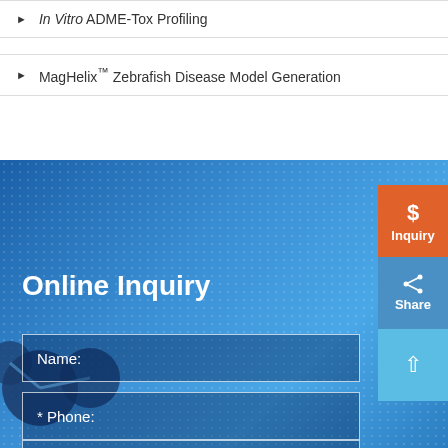In Vitro ADME-Tox Profiling
MagHelix™ Zebrafish Disease Model Generation
Online Inquiry
Name:
* Phone:
* Email: